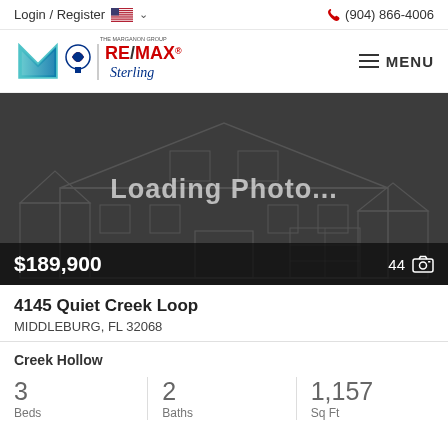Login / Register  (904) 866-4006
[Figure (logo): The Marganon Group / RE/MAX Sterling logo with hamburger menu]
[Figure (photo): Loading Photo... placeholder with house wireframe illustration, price $189,900 and photo count 44]
4145 Quiet Creek Loop
MIDDLEBURG, FL 32068
Creek Hollow
3
Beds
2
Baths
1,157
Sq Ft